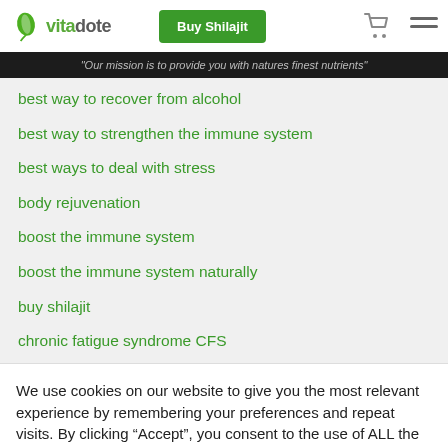vitadote — Buy Shilajit
"Our mission is to provide you with natures finest nutrients"
best way to recover from alcohol
best way to strengthen the immune system
best ways to deal with stress
body rejuvenation
boost the immune system
boost the immune system naturally
buy shilajit
chronic fatigue syndrome CFS
We use cookies on our website to give you the most relevant experience by remembering your preferences and repeat visits. By clicking “Accept”, you consent to the use of ALL the cookies.
Cookie settings   ACCEPT